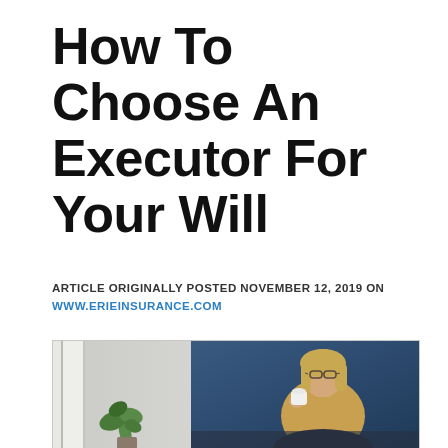How To Choose An Executor For Your Will
ARTICLE ORIGINALLY POSTED NOVEMBER 12, 2019 ON WWW.ERIEINSURANCE.COM
[Figure (photo): A middle-aged woman with glasses and blonde hair wearing a yellow sweater, sitting and holding a white coffee cup, photographed against a dark blue wall. Left side shows a lighter room with a green plant.]